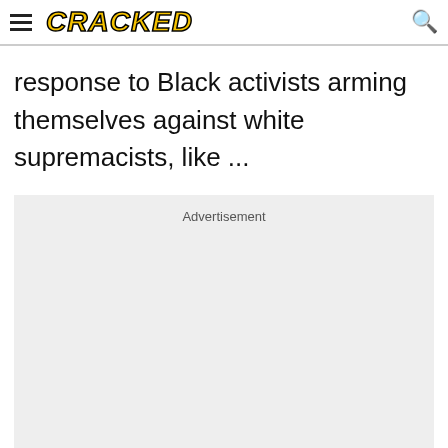CRACKED
response to Black activists arming themselves against white supremacists, like ...
[Figure (other): Advertisement placeholder box with light gray background]